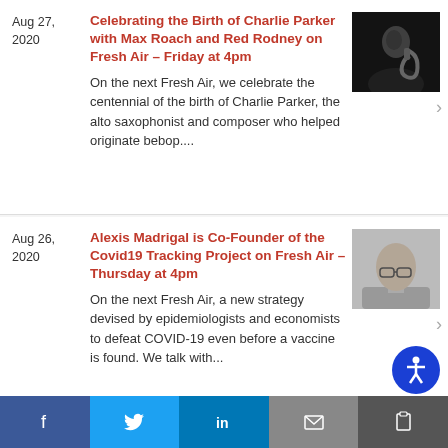Aug 27, 2020
Celebrating the Birth of Charlie Parker with Max Roach and Red Rodney on Fresh Air – Friday at 4pm
On the next Fresh Air, we celebrate the centennial of the birth of Charlie Parker, the alto saxophonist and composer who helped originate bebop....
[Figure (photo): Black and white photo of Charlie Parker playing saxophone]
Aug 26, 2020
Alexis Madrigal is Co-Founder of the Covid19 Tracking Project on Fresh Air – Thursday at 4pm
On the next Fresh Air, a new strategy devised by epidemiologists and economists to defeat COVID-19 even before a vaccine is found. We talk with...
[Figure (photo): Black and white headshot of Alexis Madrigal, a bald man with glasses]